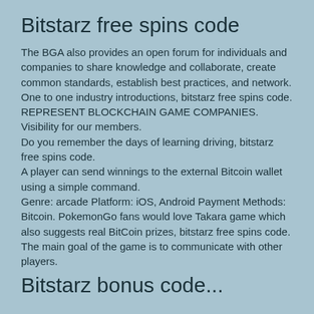Bitstarz free spins code
The BGA also provides an open forum for individuals and companies to share knowledge and collaborate, create common standards, establish best practices, and network. One to one industry introductions, bitstarz free spins code. REPRESENT BLOCKCHAIN GAME COMPANIES. Visibility for our members.
Do you remember the days of learning driving, bitstarz free spins code.
A player can send winnings to the external Bitcoin wallet using a simple command.
Genre: arcade Platform: iOS, Android Payment Methods: Bitcoin. PokemonGo fans would love Takara game which also suggests real BitCoin prizes, bitstarz free spins code. The main goal of the game is to communicate with other players.
Bitstarz bonus code...